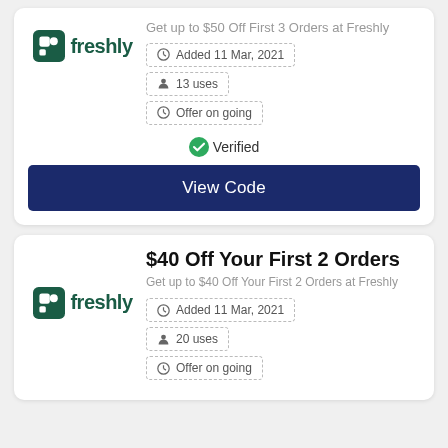[Figure (logo): Freshly logo - green icon and dark green wordmark 'freshly']
Get up to $50 Off First 3 Orders at Freshly
Added 11 Mar, 2021
13 uses
Offer on going
Verified
View Code
$40 Off Your First 2 Orders
Get up to $40 Off Your First 2 Orders at Freshly
[Figure (logo): Freshly logo - green icon and dark green wordmark 'freshly']
Added 11 Mar, 2021
20 uses
Offer on going